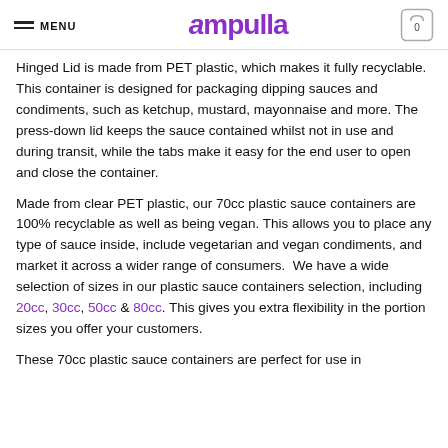MENU | ampulla | 0
Hinged Lid is made from PET plastic, which makes it fully recyclable. This container is designed for packaging dipping sauces and condiments, such as ketchup, mustard, mayonnaise and more. The press-down lid keeps the sauce contained whilst not in use and during transit, while the tabs make it easy for the end user to open and close the container.
Made from clear PET plastic, our 70cc plastic sauce containers are 100% recyclable as well as being vegan. This allows you to place any type of sauce inside, include vegetarian and vegan condiments, and market it across a wider range of consumers. We have a wide selection of sizes in our plastic sauce containers selection, including 20cc, 30cc, 50cc & 80cc. This gives you extra flexibility in the portion sizes you offer your customers.
These 70cc plastic sauce containers are perfect for use in